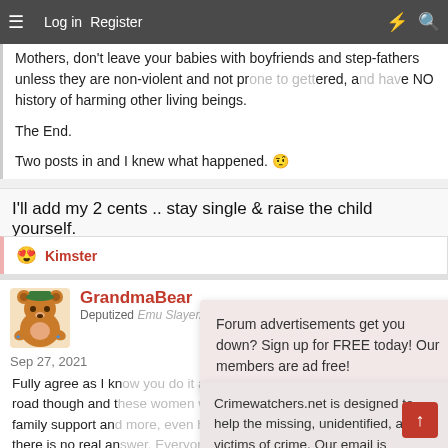Log in  Register
Mothers, don't leave your babies with boyfriends and step-fathers unless they are non-violent and not prone to getting angered, and have NO history of harming other living beings.

The End.

Two posts in and I knew what happened. 🤨
I'll add my 2 cents .. stay single & raise the child yourself.
😍 Kimster
GrandmaBear
Deputized Emu Slayer/Horse Thief Hunter
Sep 27, 2021
#23
Forum advertisements get you down? Sign up for FREE today! Our members are ad free!
Crimewatchers.net is designed to help the missing, unidentified, and victims of crime. Our email is crimewatcherscw@gmail.com.
Fully agree as I know you do it and I did the same. Not an easy road though and these women with several kids, maybe no family support and more, even harder I am sure. It is sad, and there is no real answer. Everyone's boat is different. I guess though I am even more upset at the man/fathers...